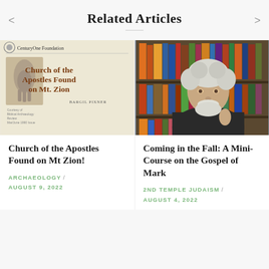Related Articles
[Figure (illustration): Magazine cover: CenturyOne Foundation, Church of the Apostles Found on Mt. Zion, by Bargil Pixner. Shows an ancient stone carving image on the left side and the article title in brown serif text. Small caption at bottom left reads 'Courtesy of Biblical Archaeology Review Mar/June 1990 Issue'.]
Church of the Apostles Found on Mt Zion!
ARCHAEOLOGY / AUGUST 9, 2022
[Figure (photo): Photograph of an older man with white curly hair and a white beard, wearing a dark t-shirt, sitting in front of a bookshelf filled with books. He is gesturing with his right hand.]
Coming in the Fall: A Mini-Course on the Gospel of Mark
2ND TEMPLE JUDAISM / AUGUST 4, 2022